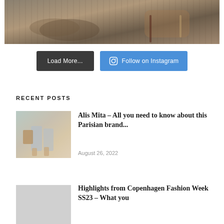[Figure (photo): Photo of woven/knit flat shoes and a rolled textile/bag on wooden deck planks]
Load More...
Follow on Instagram
RECENT POSTS
[Figure (photo): Person walking wearing light skirt, carrying a bag, wearing flat sandals]
Alis Mita – All you need to know about this Parisian brand...
August 26, 2022
[Figure (photo): Gray placeholder thumbnail for Copenhagen Fashion Week post]
Highlights from Copenhagen Fashion Week SS23 – What you